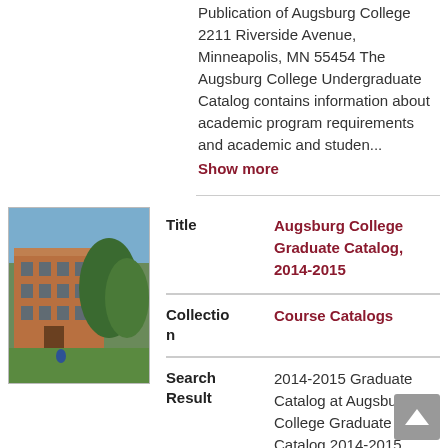Publication of Augsburg College 2211 Riverside Avenue, Minneapolis, MN 55454 The Augsburg College Undergraduate Catalog contains information about academic program requirements and academic and studen...
Show more
[Figure (photo): Thumbnail photo of Augsburg College campus with building and trees]
| Field | Value |
| --- | --- |
| Title | Augsburg College Graduate Catalog, 2014-2015 |
| Collection | Course Catalogs |
| Search Result | 2014-2015 Graduate Catalog at Augsburg College Graduate Catalog 2014-2015 Official Publication of Augsburg College 2211 Riverside Avenue, Minneapolis, MN 55454 The Augsburg College Graduate Catalog contains information about academic program requirements |